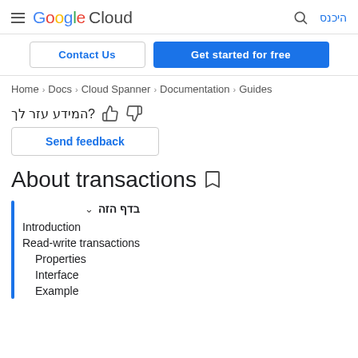Google Cloud — היכנס
Contact Us | Get started for free
Home > Docs > Cloud Spanner > Documentation > Guides
?המידע עזר לך
Send feedback
About transactions
בדף הזה
Introduction
Read-write transactions
Properties
Interface
Example